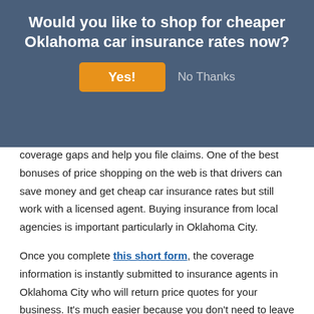Would you like to shop for cheaper Oklahoma car insurance rates now?
Many people still prefer to get advice from a local agent and that is not a bad idea. Agents can point out coverage gaps and help you file claims. One of the best bonuses of price shopping on the web is that drivers can save money and get cheap car insurance rates but still work with a licensed agent. Buying insurance from local agencies is important particularly in Oklahoma City.
Once you complete this short form, the coverage information is instantly submitted to insurance agents in Oklahoma City who will return price quotes for your business. It's much easier because you don't need to leave your house as quotes are delivered immediately to your email address. If you want to compare rates from a